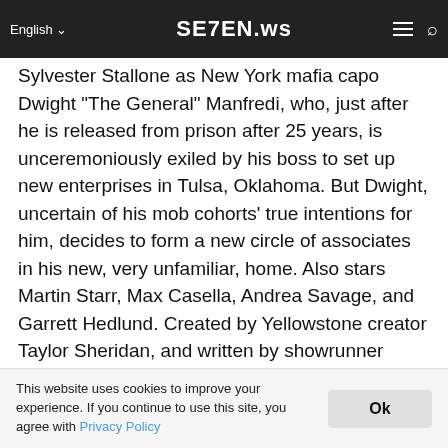SE7EN.ws — English | nav bar
Sylvester Stallone as New York mafia capo Dwight "The General" Manfredi, who, just after he is released from prison after 25 years, is unceremoniously exiled by his boss to set up new enterprises in Tulsa, Oklahoma. But Dwight, uncertain of his mob cohorts' true intentions for him, decides to form a new circle of associates in his new, very unfamiliar, home. Also stars Martin Starr, Max Casella, Andrea Savage, and Garrett Hedlund. Created by Yellowstone creator Taylor Sheridan, and written by showrunner Terence Winter. Premieres Nov. 13. (Paramount+)
Westworld season 4 returns with eight new episodes of the a dark drama about the fate of sentient life on earth, starring Evan Rachel Wood, Thandiwe Newton, Ed Harris, Jeffrey Wright, Tessa Thompson, Luke Hemsworth, Aaron Paul, Angela
This website uses cookies to improve your experience. If you continue to use this site, you agree with Privacy Policy